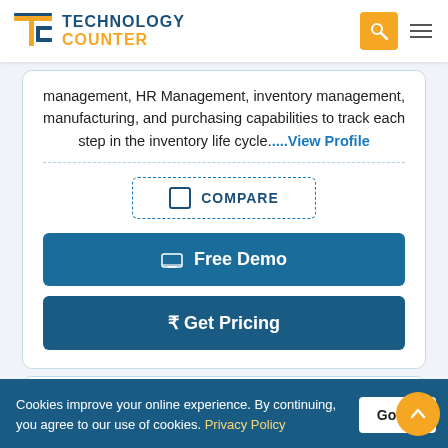Technology Counter
management, HR Management, inventory management, manufacturing, and purchasing capabilities to track each step in the inventory life cycle....View Profile
COMPARE
Free Demo
₹ Get Pricing
Cookies improve your online experience. By continuing, you agree to our use of cookies. Privacy Policy